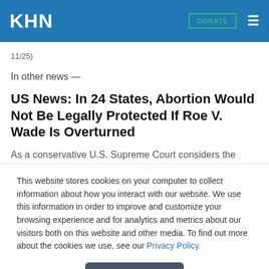KHN
11/25)
In other news —
US News: In 24 States, Abortion Would Not Be Legally Protected If Roe V. Wade Is Overturned
As a conservative U.S. Supreme Court considers the question of abortion access, a global reproductive rights advocacy organization has outlined where rights to the services could be
This website stores cookies on your computer to collect information about how you interact with our website. We use this information in order to improve and customize your browsing experience and for analytics and metrics about our visitors both on this website and other media. To find out more about the cookies we use, see our Privacy Policy.
Accept